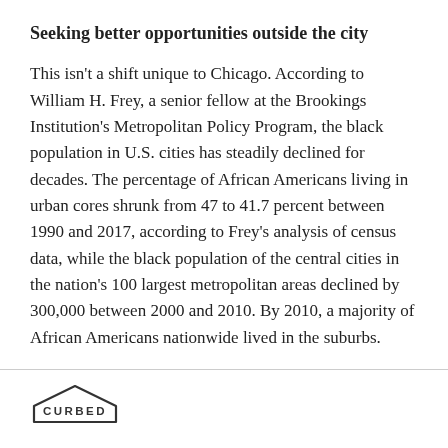Seeking better opportunities outside the city
This isn't a shift unique to Chicago. According to William H. Frey, a senior fellow at the Brookings Institution's Metropolitan Policy Program, the black population in U.S. cities has steadily declined for decades. The percentage of African Americans living in urban cores shrunk from 47 to 41.7 percent between 1990 and 2017, according to Frey's analysis of census data, while the black population of the central cities in the nation's 100 largest metropolitan areas declined by 300,000 between 2000 and 2010. By 2010, a majority of African Americans nationwide lived in the suburbs.
[Figure (logo): Curbed logo — house-shaped outline with the word CURBED inside]